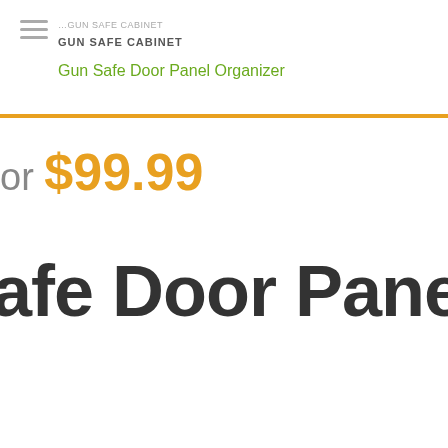GUN SAFE CABINET
Gun Safe Door Panel Organizer
or $99.99
Safe Door Panel Or